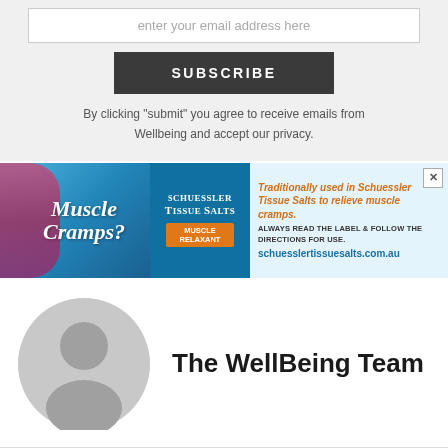enter your email address here
SUBSCRIBE
By clicking "submit" you agree to receive emails from Wellbeing and accept our privacy.
[Figure (infographic): Advertisement banner for Schuessler Tissue Salts for Muscle Cramps, showing a person with muscle cramp on the left, product branding in the middle, and text 'Traditionally used in Schuessler Tissue Salts to relieve muscle cramps. ALWAYS READ THE LABEL & FOLLOW THE DIRECTIONS FOR USE. schuesslertissuesalts.com.au' on the right.]
[Figure (illustration): Default grey user avatar icon — circular silhouette with head and shoulders]
The WellBeing Team